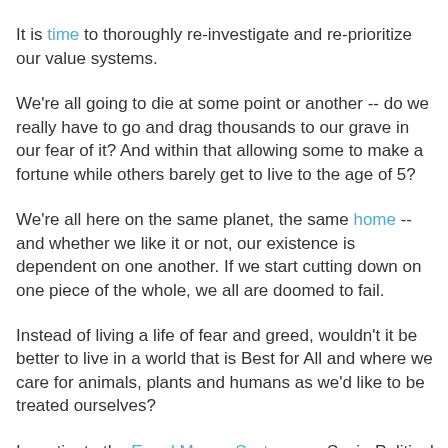who deserves being put down?
It is time to thoroughly re-investigate and re-prioritize our value systems.
We're all going to die at some point or another -- do we really have to go and drag thousands to our grave in our fear of it? And within that allowing some to make a fortune while others barely get to live to the age of 5?
We're all here on the same planet, the same home -- and whether we like it or not, our existence is dependent on one another. If we start cutting down on one piece of the whole, we all are doomed to fail.
Instead of living a life of fear and greed, wouldn't it be better to live in a world that is Best for All and where we care for animals, plants and humans as we'd like to be treated ourselves?
Investigate the Equal Money System -- a Socio-Political and